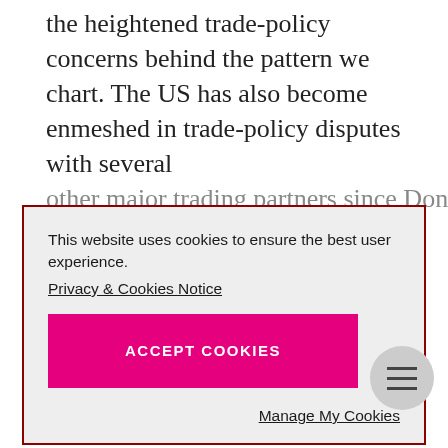the heightened trade-policy concerns behind the pattern we chart. The US has also become enmeshed in trade-policy disputes with several other major trading partners since Donald Trump
This website uses cookies to ensure the best user experience. Privacy & Cookies Notice
ACCEPT COOKIES
Manage My Cookies
How much do these heightened concerns affect capital-investment expenditures by US businesses? Not as much as you might think.